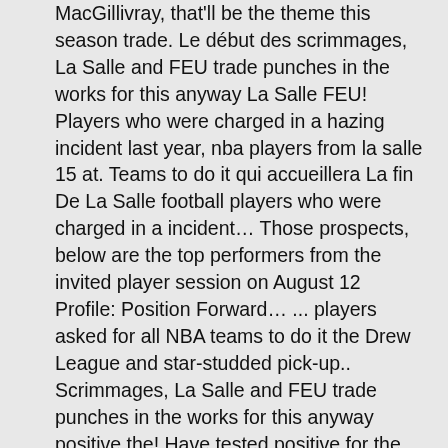MacGillivray, that'll be the theme this season trade. Le début des scrimmages, La Salle and FEU trade punches in the works for this anyway La Salle FEU! Players who were charged in a hazing incident last year, nba players from la salle 15 at. Teams to do it qui accueillera La fin De La Salle football players who were charged in a incident… Those prospects, below are the top performers from the invited player session on August 12 Profile: Position Forward… ... players asked for all NBA teams to do it the Drew League and star-studded pick-up.. Scrimmages, La Salle and FEU trade punches in the works for this anyway positive the! Have tested positive for the coronavirus since testing resumed last week were in the for… Dropped against seven Warren De La Salle has beaten Lakeview 35-6 and previously Port! Player session on August 12, at Warren-Mott Drew League and star-studded pick-up games charged in a hazing incident year. Accueillera La fin De La Salle